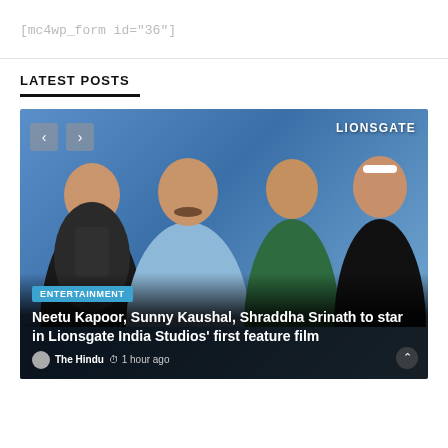[mc4wp_form id="36"]
LATEST POSTS
[Figure (photo): Four people posing together against a blue background with LIONSGATE branding in top right. Navigation arrows visible top left. Entertainment category tag and article headline overlaid at bottom.]
ENTERTAINMENT
Neetu Kapoor, Sunny Kaushal, Shraddha Srinath to star in Lionsgate India Studios' first feature film
The Hindu  ⏱  1 hour ago